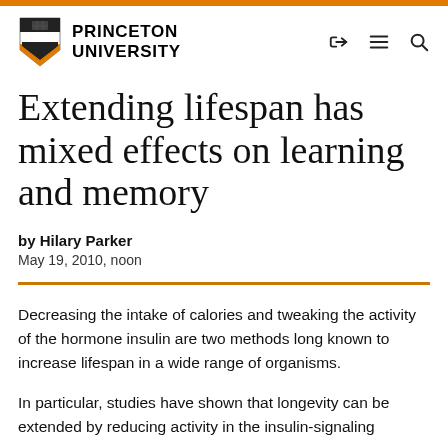Princeton University
Extending lifespan has mixed effects on learning and memory
by Hilary Parker
May 19, 2010, noon
Decreasing the intake of calories and tweaking the activity of the hormone insulin are two methods long known to increase lifespan in a wide range of organisms.
In particular, studies have shown that longevity can be extended by reducing activity in the insulin-signaling